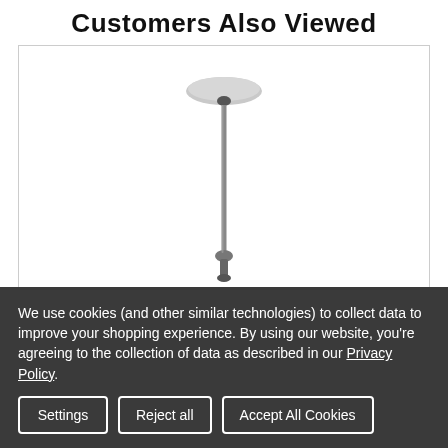Customers Also Viewed
[Figure (photo): Product image of a long pendant light fixture with a small canopy ceiling mount at the top and a narrow decorative element at the bottom, shown on a white background]
We use cookies (and other similar technologies) to collect data to improve your shopping experience. By using our website, you're agreeing to the collection of data as described in our Privacy Policy.
Settings
Reject all
Accept All Cookies